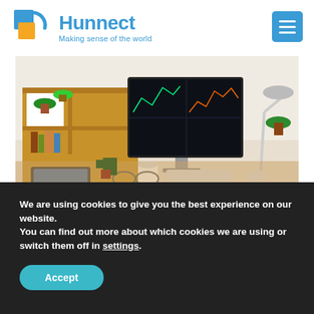[Figure (logo): Hunnect logo with orange and blue square/circle icon and text 'Hunnect - Making sense of the world']
[Figure (photo): A home office desk setup with a computer monitor showing financial trading charts, wooden shelves with plants, a tablet, coffee cup, glasses, and keyboard on a wooden desk surface]
We are using cookies to give you the best experience on our website.
You can find out more about which cookies we are using or switch them off in settings.
Accept